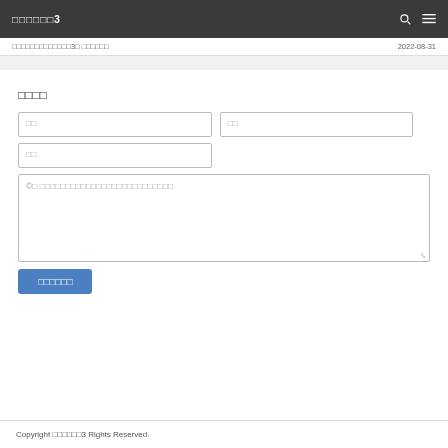□□□□□□3  🔍 ☰
□□□□□□□□□□□□□3□ □□□□□□  2022-08-31
□□□□
□□  □□  □□
©□ □□□□□□□□□□□□□□□□□□□□□□□□□□
□□□□□□
Copyright □□□□□□3 Rights Reserved.